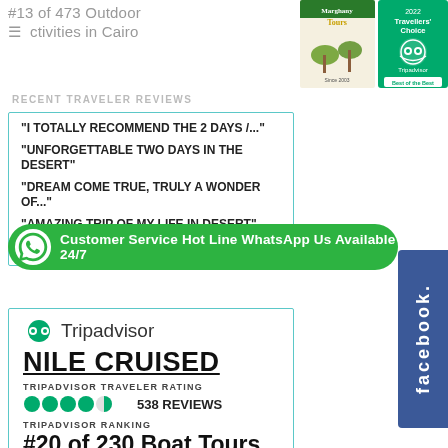#13 of 473 Outdoor Activities in Cairo
[Figure (logo): Marghany Tours logo and TripAdvisor Travellers' Choice 2022 Best of the Best badge]
RECENT TRAVELER REVIEWS
"I TOTALLY RECOMMEND THE 2 DAYS /..."
"UNFORGETTABLE TWO DAYS IN THE DESERT"
"DREAM COME TRUE, TRULY A WONDER OF..."
"AMAZING TRIP OF MY LIFE IN DESERT"
Read reviews  |  Write a review
[Figure (infographic): WhatsApp Customer Service Hot Line banner - green rounded rectangle with WhatsApp icon and text: Customer Service Hot Line WhatsApp Us Available 24/7]
[Figure (other): Facebook vertical tab on right side]
[Figure (other): Tripadvisor widget box with owl logo]
NILE CRUISED
TRIPADVISOR TRAVELER RATING
538 REVIEWS
TRIPADVISOR RANKING
#20 of 230 Boat Tours &